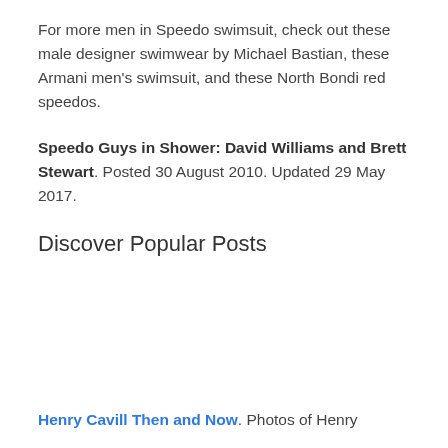For more men in Speedo swimsuit, check out these male designer swimwear by Michael Bastian, these Armani men’s swimsuit, and these North Bondi red speedos.
Speedo Guys in Shower: David Williams and Brett Stewart. Posted 30 August 2010. Updated 29 May 2017.
Discover Popular Posts
Henry Cavill Then and Now. Photos of Henry